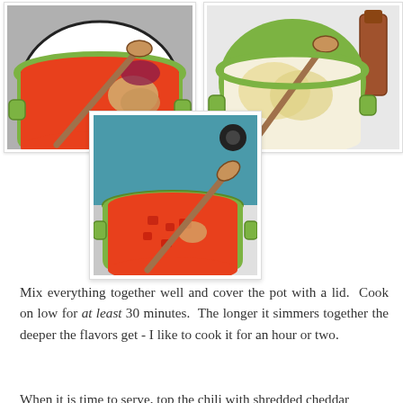[Figure (photo): Green Dutch oven pot with tomato-based chili, beans, and diced red onion being added, with a wooden spoon stirring.]
[Figure (photo): Green Dutch oven pot with corn or white beans and a wooden spoon stirring, with a sauce bottle visible in background.]
[Figure (photo): Green Dutch oven pot with red tomato-based chili and beans, wooden spoon stirring, on a white stove.]
Mix everything together well and cover the pot with a lid.  Cook on low for at least 30 minutes.  The longer it simmers together the deeper the flavors get - I like to cook it for an hour or two.
When it is time to serve, top the chili with shredded cheddar